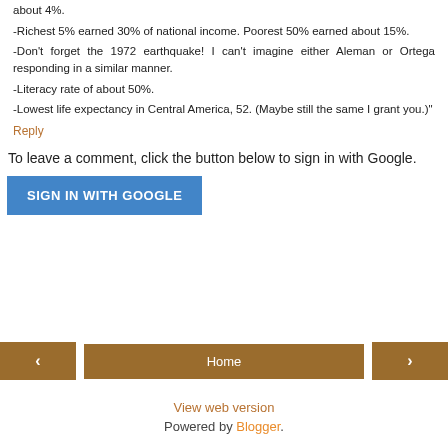about 4%.
-Richest 5% earned 30% of national income. Poorest 50% earned about 15%.
-Don't forget the 1972 earthquake! I can't imagine either Aleman or Ortega responding in a similar manner.
-Literacy rate of about 50%.
-Lowest life expectancy in Central America, 52. (Maybe still the same I grant you.)"
Reply
To leave a comment, click the button below to sign in with Google.
[Figure (other): SIGN IN WITH GOOGLE button — blue rectangular button]
< (previous) | Home | > (next)
View web version
Powered by Blogger.